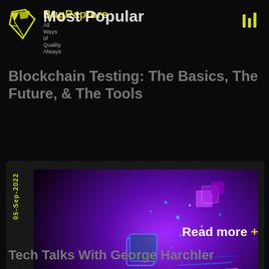Most Popular
[Figure (logo): BugRaptors logo - stylized wing/bird mark with text 'BugRaptors' and tagline 'All Ways of Quality Always']
[Figure (other): Bar chart icon / menu icon in yellow-green]
Blockchain Testing: The Basics, The Future, & The Tools
05-Sep-2022
[Figure (photo): A hand holding glowing blockchain/crypto visual elements with purple and pink lighting, digital cubes and network particles floating above]
Read more +
Tech Talks With George Harchler